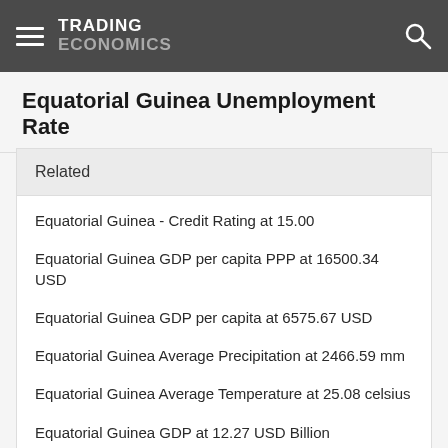TRADING ECONOMICS
Equatorial Guinea Unemployment Rate
Related
Equatorial Guinea - Credit Rating at 15.00
Equatorial Guinea GDP per capita PPP at 16500.34 USD
Equatorial Guinea GDP per capita at 6575.67 USD
Equatorial Guinea Average Precipitation at 2466.59 mm
Equatorial Guinea Average Temperature at 25.08 celsius
Equatorial Guinea GDP at 12.27 USD Billion
Equatorial Guinea Crude Oil Production at 91.00 BBL/D/1K
Equatorial Guinea Unemployment Rate at 9.20 percent
Equatorial Guinea GDP Annual Growth Rate at -1.60 percent
Equatorial Guinea Interest Rate at 4.00 percent